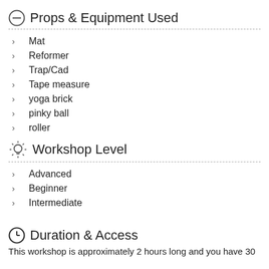Props & Equipment Used
Mat
Reformer
Trap/Cad
Tape measure
yoga brick
pinky ball
roller
Workshop Level
Advanced
Beginner
Intermediate
Duration & Access
This workshop is approximately 2 hours long and you have 30